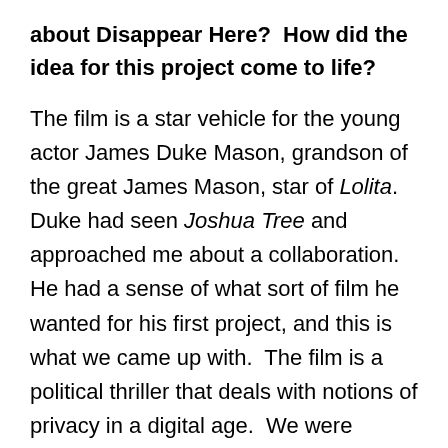about Disappear Here?  How did the idea for this project come to life?
The film is a star vehicle for the young actor James Duke Mason, grandson of the great James Mason, star of Lolita.  Duke had seen Joshua Tree and approached me about a collaboration.  He had a sense of what sort of film he wanted for his first project, and this is what we came up with.  The film is a political thriller that deals with notions of privacy in a digital age.  We were inspired by the commercial thrillers of the 1980s and the paranoia films of the 70s.
Can you tell us a bit about your upcoming film Portland?
We've been trying to make Portland for years.  Hopefully